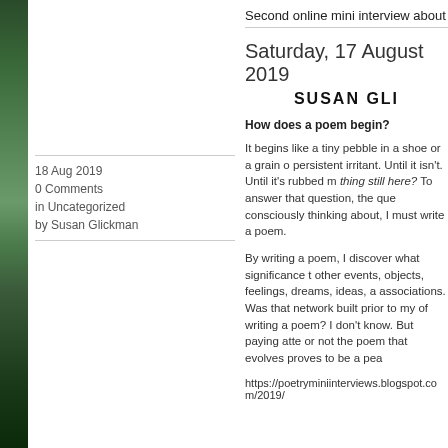[Figure (photo): Vertical strip of a nature/forest photograph on the far left edge of the page, showing green foliage and dark tones.]
Second online mini interview about po
18 Aug 2019
0 Comments
in Uncategorized
by Susan Glickman
Saturday, 17 August 2019
SUSAN GLI
How does a poem begin?
It begins like a tiny pebble in a shoe or a grain o persistent irritant. Until it isn't. Until it's rubbed m thing still here? To answer that question, the que consciously thinking about, I must write a poem.
By writing a poem, I discover what significance t other events, objects, feelings, dreams, ideas, a associations. Was that network built prior to my of writing a poem? I don't know. But paying atte or not the poem that evolves proves to be a pea
https://poetryminiinterviews.blogspot.com/2019/